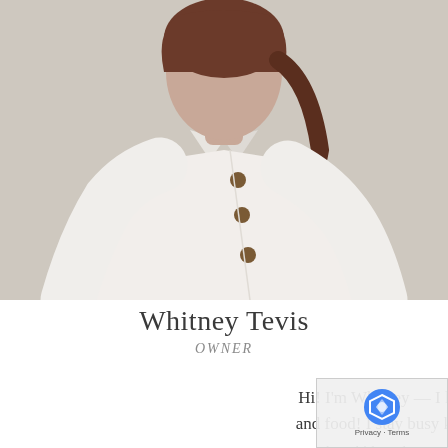[Figure (photo): Portrait photo of Whitney Tevis, a woman with brown hair wearing a white button-up shirt, photographed from approximately chest up against a light beige/cream background.]
Whitney Tevis
OWNER
Hi! I'm Whitney — I love all things home, fashion and food! I stay busy keeping up with my husband, three kids and never ending to-do lists. You can...